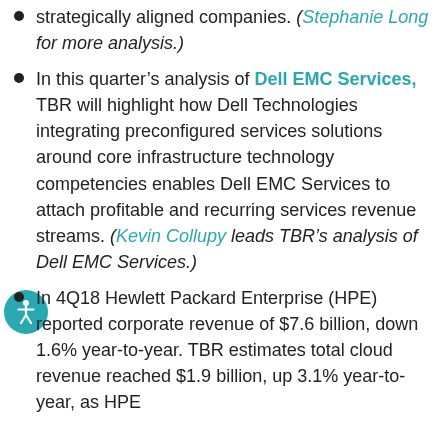strategically aligned companies. (See Stephanie Long for more analysis.)
In this quarter's analysis of Dell EMC Services, TBR will highlight how Dell Technologies integrating preconfigured services solutions around core infrastructure technology competencies enables Dell EMC Services to attach profitable and recurring services revenue streams. (Kevin Collupy leads TBR's analysis of Dell EMC Services.)
In 4Q18 Hewlett Packard Enterprise (HPE) reported corporate revenue of $7.6 billion, down 1.6% year-to-year. TBR estimates total cloud revenue reached $1.9 billion, up 3.1% year-to-year, as HPE